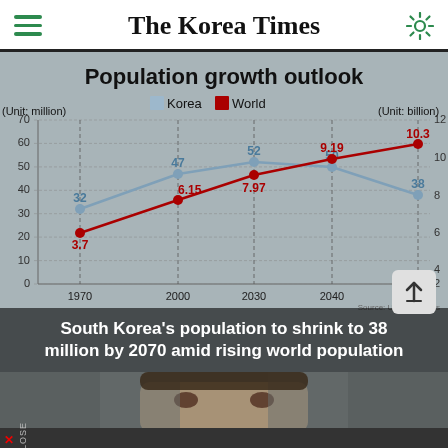The Korea Times
[Figure (line-chart): Population growth outlook]
South Korea's population to shrink to 38 million by 2070 amid rising world population
[Figure (photo): Photo of a young woman partially visible, peeking up from below the frame]
CLOSE